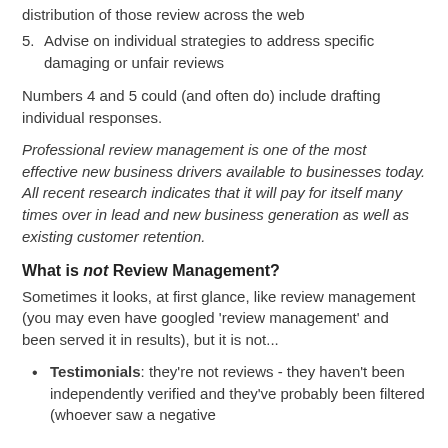distribution of those review across the web
5. Advise on individual strategies to address specific damaging or unfair reviews
Numbers 4 and 5 could (and often do) include drafting individual responses.
Professional review management is one of the most effective new business drivers available to businesses today. All recent research indicates that it will pay for itself many times over in lead and new business generation as well as existing customer retention.
What is not Review Management?
Sometimes it looks, at first glance, like review management (you may even have googled 'review management' and been served it in results), but it is not...
Testimonials: they're not reviews - they haven't been independently verified and they've probably been filtered (whoever saw a negative